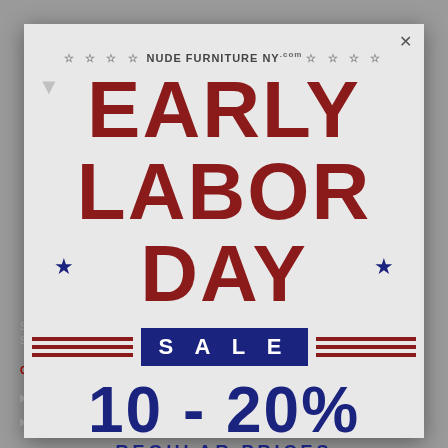PINE 2 DOOR JELLY CABINET
PINE 2 DOOR CONSOLE CABINET
[Figure (infographic): Early Labor Day Sale promotional popup for Nude Furniture NY. Features large red text reading EARLY LABOR DAY with SALE in navy blue banner, discount of 10-20% off regular prices, with decorative stars and red stripes.]
10 - 20%
REGULAR PRICES